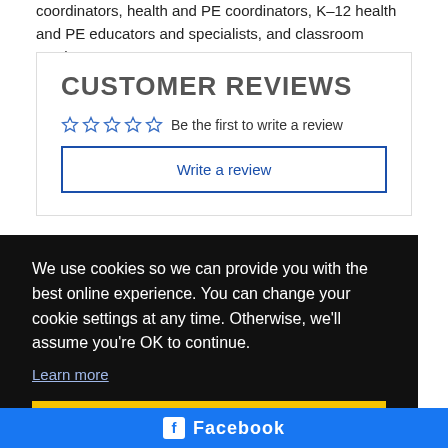coordinators, health and PE coordinators, K–12 health and PE educators and specialists, and classroom teachers.
CUSTOMER REVIEWS
Be the first to write a review
Write a review
We use cookies so we can provide you with the best online experience. You can change your cookie settings at any time. Otherwise, we'll assume you're OK to continue.
Learn more
Got it!
Facebook